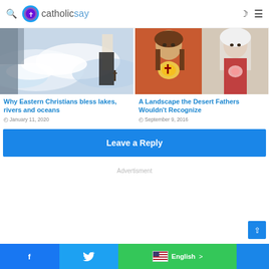catholicsay
[Figure (photo): Person blessing ocean waves with a cross]
[Figure (photo): Religious painting of Jesus and Mary (Sacred Hearts)]
Why Eastern Christians bless lakes, rivers and oceans
January 11, 2020
A Landscape the Desert Fathers Wouldn't Recognize
September 9, 2016
Leave a Reply
Advertisment
Facebook | Twitter | English